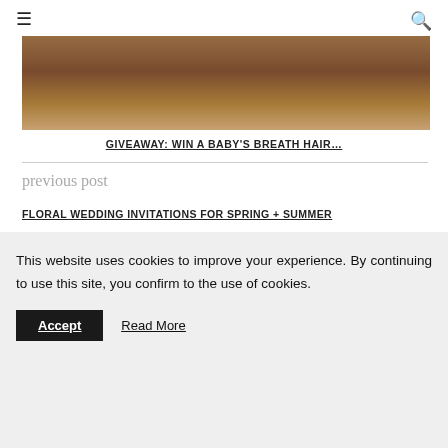☰  🔍
[Figure (photo): Top-down view of a person's brown curly updo hairstyle against a light background.]
GIVEAWAY: WIN A BABY'S BREATH HAIR…
previous post
FLORAL WEDDING INVITATIONS FOR SPRING + SUMMER
This website uses cookies to improve your experience. By continuing to use this site, you confirm to the use of cookies.
Accept   Read More